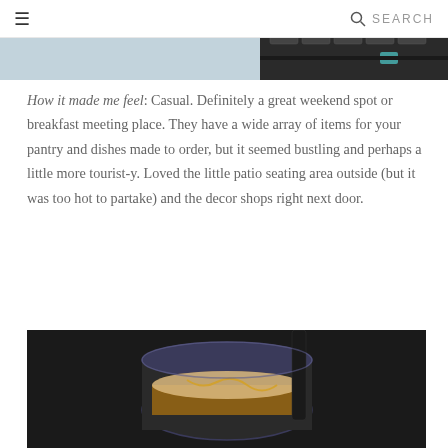≡  SEARCH
[Figure (photo): Top portion of a cafe/store photo showing shelving with packaged products on the right side, light blue/grey background on the left]
How it made me feel: Casual. Definitely a great weekend spot or breakfast meeting place. They have a wide array of items for your pantry and dishes made to order, but it seemed bustling and perhaps a little more tourist-y. Loved the little patio seating area outside (but it was too hot to partake) and the decor shops right next door.
[Figure (photo): Close-up photo of an iced drink in a cup with a dark straw, showing caramel or amber colored liquid with ice and foam, dark background]